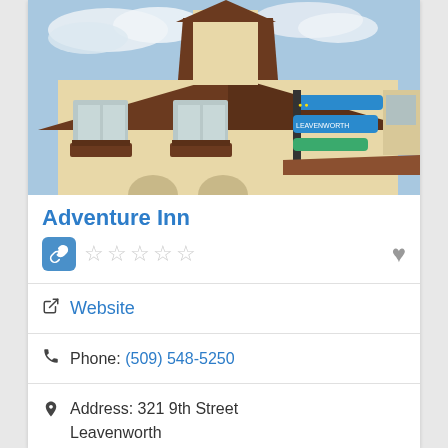[Figure (photo): Exterior photo of Adventure Inn showing a Bavarian-style building with cream/beige stucco walls, dark brown wooden trim and roof, flower boxes under windows, and a blue hanging sign on the right side, with a partly cloudy sky above.]
Adventure Inn
★★★★★ (5 empty stars rating) with link icon and heart icon
Website
Phone: (509) 548-5250
Address: 321 9th Street Leavenworth Washington